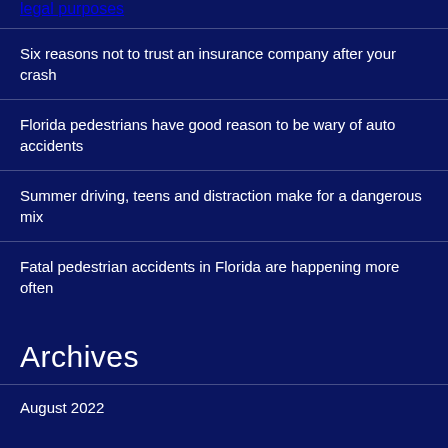legal purposes
Six reasons not to trust an insurance company after your crash
Florida pedestrians have good reason to be wary of auto accidents
Summer driving, teens and distraction make for a dangerous mix
Fatal pedestrian accidents in Florida are happening more often
Archives
August 2022